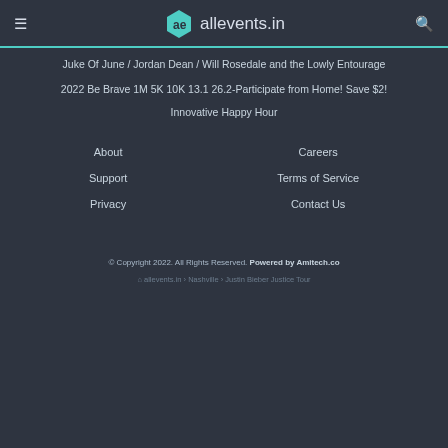ae allevents.in
Juke Of June / Jordan Dean / Will Rosedale and the Lowly Entourage
2022 Be Brave 1M 5K 10K 13.1 26.2-Participate from Home! Save $2!
Innovative Happy Hour
About
Careers
Support
Terms of Service
Privacy
Contact Us
© Copyright 2022. All Rights Reserved. Powered by Amitech.co
allevents.in › Nashville › Justin Bieber Justice Tour